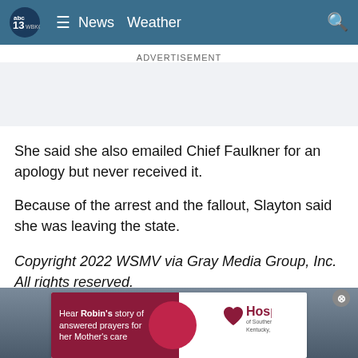abc13 WBKO — News   Weather
ADVERTISEMENT
She said she also emailed Chief Faulkner for an apology but never received it.
Because of the arrest and the fallout, Slayton said she was leaving the state.
Copyright 2022 WSMV via Gray Media Group, Inc. All rights reserved.
Taboola Feed
[Figure (photo): Bottom image strip showing a person, with a Hospice of Southern Kentucky advertisement overlay banner reading: Hear Robin's story of answered prayers for her Mother's care]
Hear Robin's story of answered prayers for her Mother's care — Hospice of Southern Kentucky